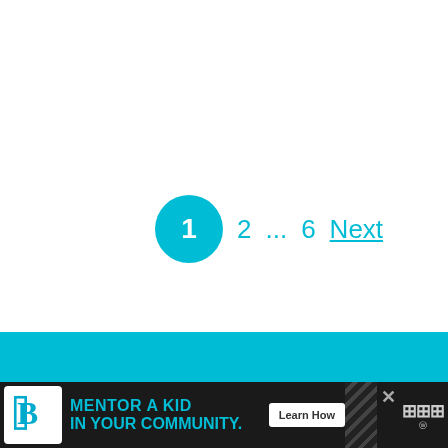1  2  ...  6  Next
[Figure (screenshot): Circular heart favorite button (cyan)]
[Figure (screenshot): Share button (white circle with share icon)]
WHAT'S NEXT → 9 Top Things to in...
[Figure (screenshot): Cyan navigation bar at bottom]
[Figure (screenshot): Advertisement banner: Big Brothers Big Sisters - MENTOR A KID IN YOUR COMMUNITY. Learn How]